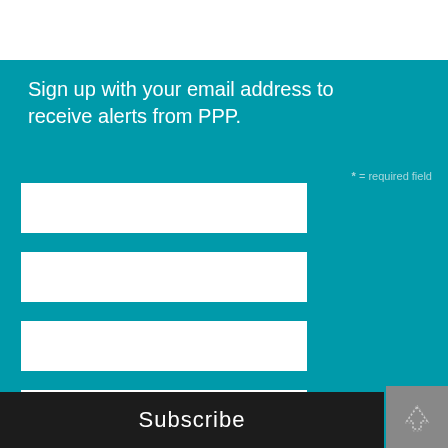Sign up with your email address to receive alerts from PPP.
* = required field
Subscribe